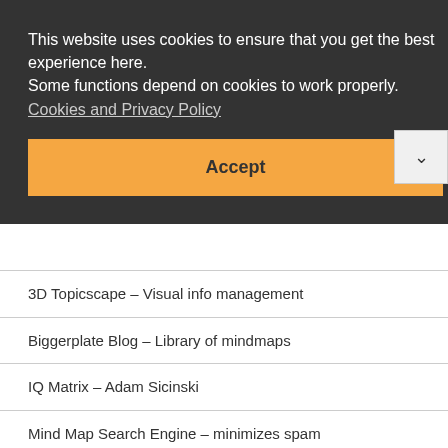This website uses cookies to ensure that you get the best experience here. Some functions depend on cookies to work properly. Cookies and Privacy Policy
Accept
3D Topicscape – Visual info management
Biggerplate Blog – Library of mindmaps
IQ Matrix – Adam Sicinski
Mind Map Search Engine – minimizes spam
MindMapInspiration – Paul Foreman